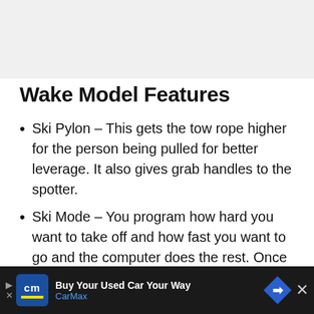[Figure (photo): Gray placeholder image area at top of page]
Wake Model Features
Ski Pylon – This gets the tow rope higher for the person being pulled for better leverage. It also gives grab handles to the spotter.
Ski Mode – You program how hard you want to take off and how fast you want to go and the computer does the rest. Once Ski Mode is set all the driver does is hold the trigger
[Figure (advertisement): CarMax advertisement banner: Buy Your Used Car Your Way]